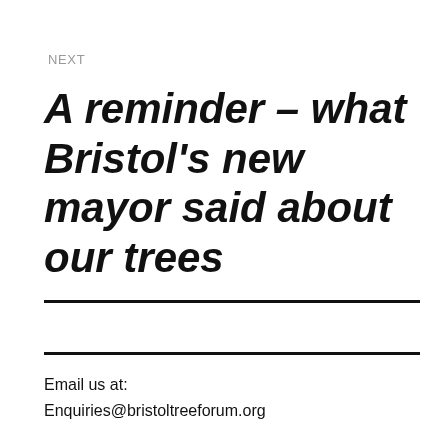NEXT
A reminder – what Bristol's new mayor said about our trees
Email us at:
Enquiries@bristoltreeforum.org